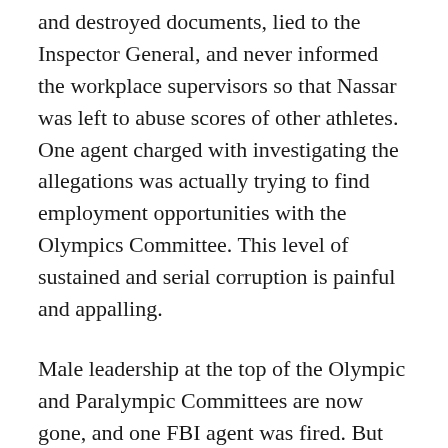and destroyed documents, lied to the Inspector General, and never informed the workplace supervisors so that Nassar was left to abuse scores of other athletes. One agent charged with investigating the allegations was actually trying to find employment opportunities with the Olympics Committee. This level of sustained and serial corruption is painful and appalling.
Male leadership at the top of the Olympic and Paralympic Committees are now gone, and one FBI agent was fired. But where is the claw-back of pensions and bonus payouts of the miscreants who quietly “retired?” Where are the additional criminal actions again those who failed their duties in child exploitation cases and surely did not fulfill their Constitutional duties to our country’s most?